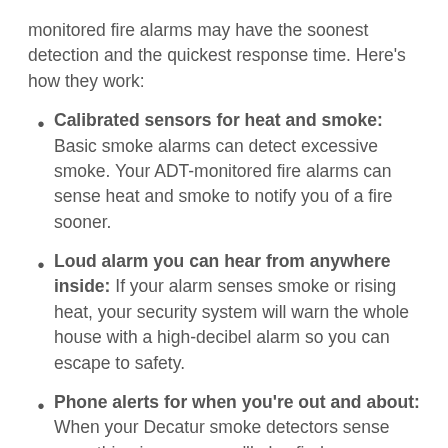monitored fire alarms may have the soonest detection and the quickest response time. Here's how they work:
Calibrated sensors for heat and smoke: Basic smoke alarms can detect excessive smoke. Your ADT-monitored fire alarms can sense heat and smoke to notify you of a fire sooner.
Loud alarm you can hear from anywhere inside: If your alarm senses smoke or rising heat, your security system will warn the whole house with a high-decibel alarm so you can escape to safety.
Phone alerts for when you're out and about: When your Decatur smoke detectors sense something is wrong, you'll also find a